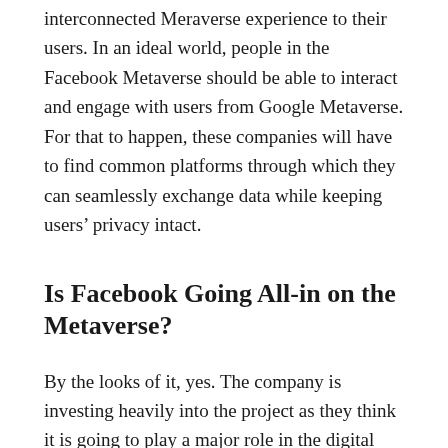interconnected Meraverse experience to their users. In an ideal world, people in the Facebook Metaverse should be able to interact and engage with users from Google Metaverse. For that to happen, these companies will have to find common platforms through which they can seamlessly exchange data while keeping users' privacy intact.
Is Facebook Going All-in on the Metaverse?
By the looks of it, yes. The company is investing heavily into the project as they think it is going to play a major role in the digital economy we're in. They would be investing about $10 billion on Metaverse this year alone. That's a huge number.
Facebook also reportedly dealt with Microsfore and...